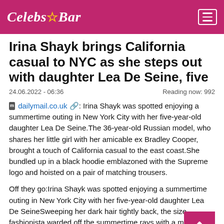Celebs★Bar
Irina Shayk brings California casual to NYC as she steps out with daughter Lea De Seine, five
24.06.2022 - 06:36    Reading now: 992
dailymail.co.uk: Irina Shayk was spotted enjoying a summertime outing in New York City with her five-year-old daughter Lea De Seine.The 36-year-old Russian model, who shares her little girl with her amicable ex Bradley Cooper, brought a touch of California casual to the east coast.She bundled up in a black hoodie emblazoned with the Supreme logo and hoisted on a pair of matching trousers.
Off they go:Irina Shayk was spotted enjoying a summertime outing in New York City with her five-year-old daughter Lea De SeineSweeping her dark hair tightly back, the size fashionista warded off the summertime rays with a massive pair of black shades.Irina who was born in an industrial